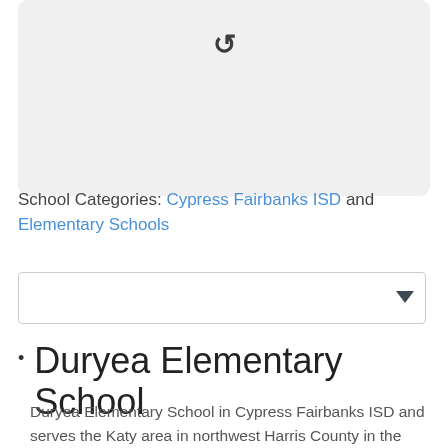[Figure (other): Loading placeholder image with a refresh/reload icon on a light gray background]
School Categories: Cypress Fairbanks ISD and Elementary Schools
[Figure (other): Dropdown selector input box with a downward arrow indicator]
Duryea Elementary School
Duryea Elementary School in Cypress Fairbanks ISD and serves the Katy area in northwest Harris County in the 77449 zip code.  The school's full name is Peggy Duryea Elementary.  It was opened in 2004.  Duryea Elementary is located in